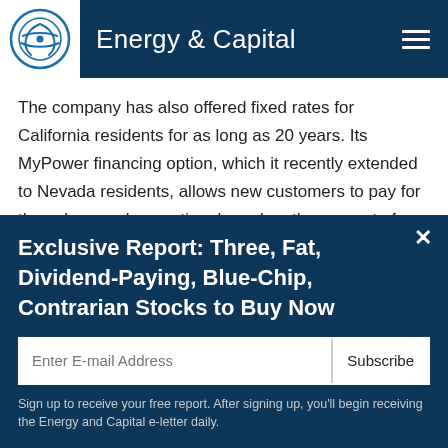Energy & Capital
The company has also offered fixed rates for California residents for as long as 20 years. Its MyPower financing option, which it recently extended to Nevada residents, allows new customers to pay for the solar panels over time based on the amount of electricity they produce. This service recently extended across the country to Rhode
Exclusive Report: Three, Fat, Dividend-Paying, Blue-Chip, Contrarian Stocks to Buy Now
Sign up to receive your free report. After signing up, you'll begin receiving the Energy and Capital e-letter daily.